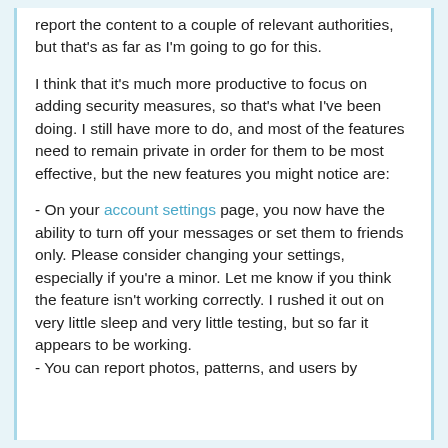report the content to a couple of relevant authorities, but that's as far as I'm going to go for this.
I think that it's much more productive to focus on adding security measures, so that's what I've been doing. I still have more to do, and most of the features need to remain private in order for them to be most effective, but the new features you might notice are:
- On your account settings page, you now have the ability to turn off your messages or set them to friends only. Please consider changing your settings, especially if you're a minor. Let me know if you think the feature isn't working correctly. I rushed it out on very little sleep and very little testing, but so far it appears to be working.
- You can report photos, patterns, and users by